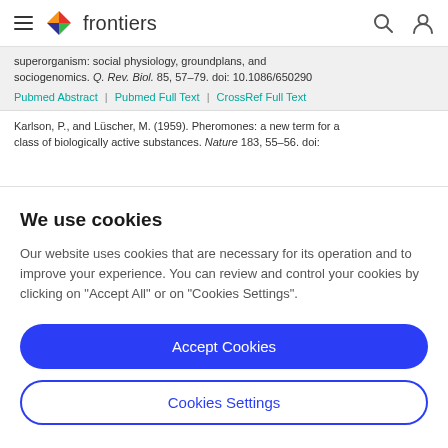frontiers
superorganism: social physiology, groundplans, and sociogenomics. Q. Rev. Biol. 85, 57–79. doi: 10.1086/650290
Pubmed Abstract | Pubmed Full Text | CrossRef Full Text
Karlson, P., and Lüscher, M. (1959). Pheromones: a new term for a class of biologically active substances. Nature 183, 55–56. doi:
We use cookies
Our website uses cookies that are necessary for its operation and to improve your experience. You can review and control your cookies by clicking on "Accept All" or on "Cookies Settings".
Accept Cookies
Cookies Settings